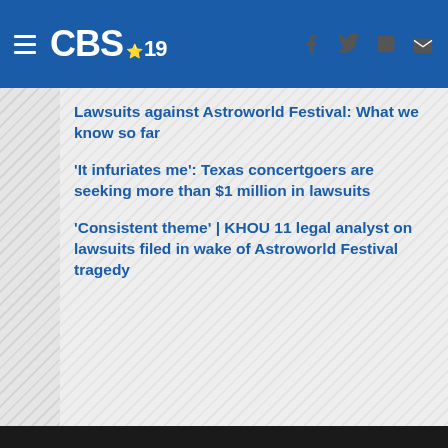CBS 19
Lawsuits against Astroworld Festival: What we know so far
'It infuriates me': Texas concertgoers are seeking more than $1 million in lawsuits
'Consistent theme' | KHOU 11 legal analyst on lawsuits filed in wake of Astroworld Festival tragedy
Watch more Astroworld Festival stories on the KHOU 11 YouTube channel:
[Figure (photo): Dark video thumbnail at the bottom of the page]